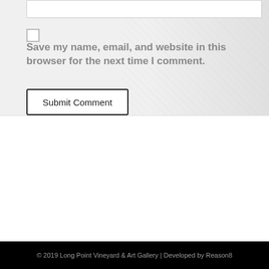Save my name, email, and website in this browser for the next time I comment.
Submit Comment
Contact Us
[Figure (logo): Facebook logo and TripAdvisor logo side by side]
© 2019 Long Point Vineyard & Art Gallery | Developed by Reason8